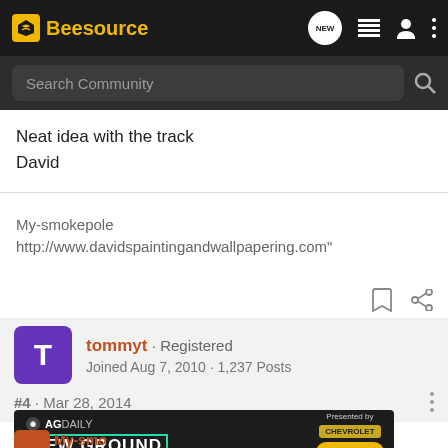Beesource
Search Community
Neat idea with the track
David
My-smokepole
http://www.davidspaintingandwallpapering.com"
tommyt · Registered
Joined Aug 7, 2010 · 1,237 Posts
#4 · Mar 28, 2014
[Figure (screenshot): AG Daily NEW GROUND advertisement banner with Chevrolet branding and Watch Now button]
My-sm